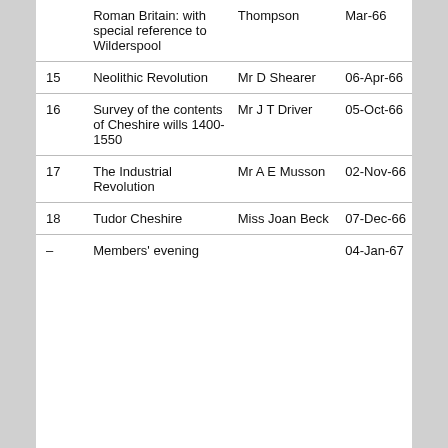|  | Roman Britain: with special reference to Wilderspool | Thompson | Mar-66 |
| 15 | Neolithic Revolution | Mr D Shearer | 06-Apr-66 |
| 16 | Survey of the contents of Cheshire wills 1400-1550 | Mr J T Driver | 05-Oct-66 |
| 17 | The Industrial Revolution | Mr A E Musson | 02-Nov-66 |
| 18 | Tudor Cheshire | Miss Joan Beck | 07-Dec-66 |
| – | Members' evening |  | 04-Jan-67 |